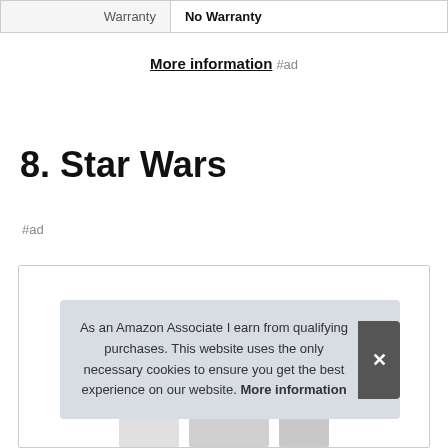| Warranty | No Warranty |
More information #ad
8. Star Wars
#ad
[Figure (other): Product listing card with image thumbnails at bottom, partially visible]
As an Amazon Associate I earn from qualifying purchases. This website uses the only necessary cookies to ensure you get the best experience on our website. More information